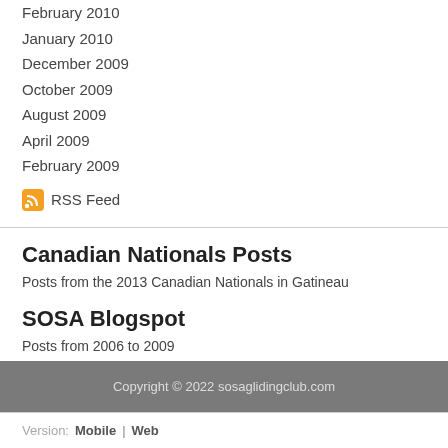February 2010
January 2010
December 2009
October 2009
August 2009
April 2009
February 2009
RSS Feed
Canadian Nationals Posts
Posts from the 2013 Canadian Nationals in Gatineau
SOSA Blogspot
Posts from 2006 to 2009
Copyright © 2022 sosaglidingclub.com
Version:  Mobile  |  Web